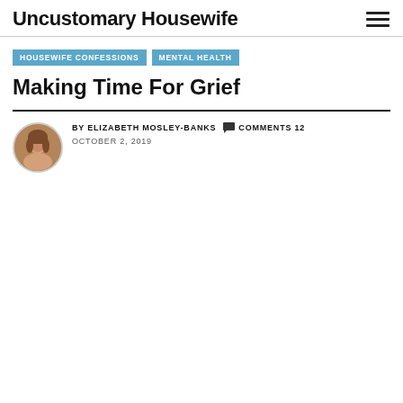Uncustomary Housewife
HOUSEWIFE CONFESSIONS
MENTAL HEALTH
Making Time For Grief
BY ELIZABETH MOSLEY-BANKS   COMMENTS 12   OCTOBER 2, 2019